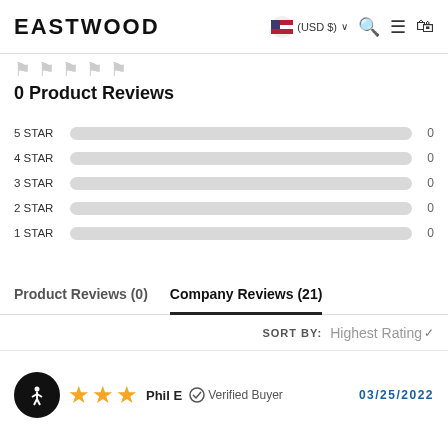EASTWOOD (USD $)
0 Product Reviews
[Figure (infographic): Star rating distribution bars: 5 STAR 0, 4 STAR 0, 3 STAR 0, 2 STAR 0, 1 STAR 0]
Product Reviews (0)   Company Reviews (21)
SORT BY: Highest Rating
Phil E   Verified Buyer   03/25/2022